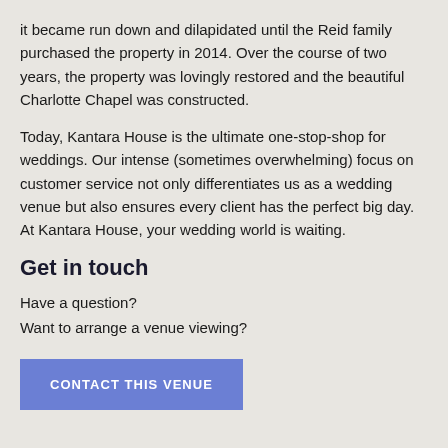it became run down and dilapidated until the Reid family purchased the property in 2014. Over the course of two years, the property was lovingly restored and the beautiful Charlotte Chapel was constructed.
Today, Kantara House is the ultimate one-stop-shop for weddings. Our intense (sometimes overwhelming) focus on customer service not only differentiates us as a wedding venue but also ensures every client has the perfect big day. At Kantara House, your wedding world is waiting.
Get in touch
Have a question?
Want to arrange a venue viewing?
CONTACT THIS VENUE